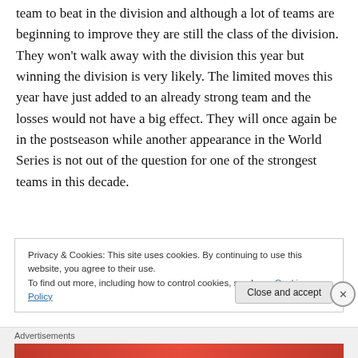team to beat in the division and although a lot of teams are beginning to improve they are still the class of the division. They won't walk away with the division this year but winning the division is very likely. The limited moves this year have just added to an already strong team and the losses would not have a big effect. They will once again be in the postseason while another appearance in the World Series is not out of the question for one of the strongest teams in this decade.
Privacy & Cookies: This site uses cookies. By continuing to use this website, you agree to their use. To find out more, including how to control cookies, see here: Cookie Policy
Advertisements